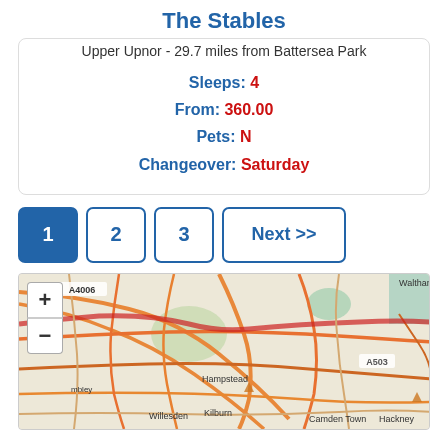The Stables
Upper Upnor - 29.7 miles from Battersea Park
Sleeps: 4
From: 360.00
Pets: N
Changeover: Saturday
[Figure (screenshot): Pagination buttons: 1 (active/filled blue), 2, 3, Next >>]
[Figure (map): Interactive map showing London area including Hampstead, Willesden, Kilburn, Camden Town, Hackney, Waltham. Roads A4006, A503 visible. Map controls: + and - zoom buttons.]